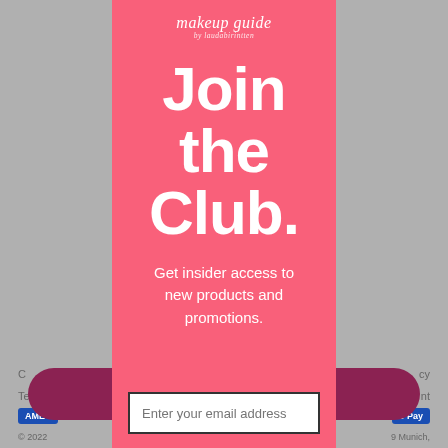[Figure (screenshot): Background of a webpage showing partial footer content with contact/terms links, payment card logos (AMEX, Apple Pay), copyright text, and a dark pink rounded button, rendered in gray]
makeup guide
by laudabirintten
Join the Club.
Get insider access to new products and promotions.
Enter your email address